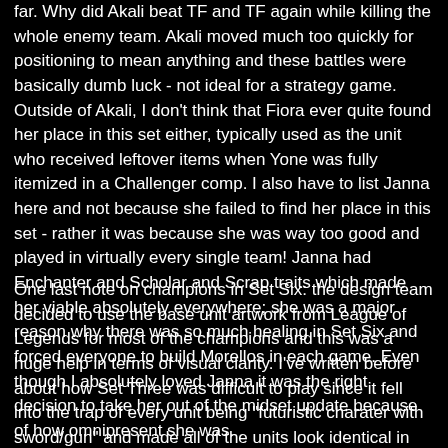far. Why did Akali beat TF and TF again while killing the whole enemy team. Akali moved much too quickly for positioning to mean anything and these battles were basically dumb luck - not ideal for a strategy game. Outside of Akali, I don't think that Fiora ever quite found her place in this set either, typically used as the unit who received leftover items when Yone was fully itemized in a Challenger comp. I also have to list Janna here and not because she failed to find her place in this set - rather it was because she was way too good and played in virtually every single team! Janna had Enchanter and Scholar and Scrap traits which made her viable absolutely everywhere; she was a major reason why there was so much healing in Set Six and forced everyone to build Morellos in each game. Even though I absolutely loved Janna it was the right decision to take her out of the midset update because of how omnipresent she was.
One last note on champions in Set Six: the design team decided to use the base unit artwork from League of Legends for most of the champions and this was a huge help in terms of visual clarity. I've written before about how Set Three was difficult to play since it fell into the trap of every unit being "futuristic charater with sword/gun" and made all of the units look identical in the shop. Set Five tried to color-code the units by their respective traits but had the side effect of creating some hideously ugly portraits that came out looking nothing like their League of Legends counterparts (especially Udyr). By sticking with the base portrait art for many